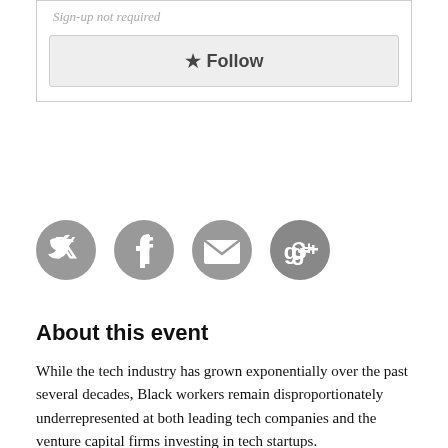Sign-up not required
[Figure (other): Follow button UI element with star icon]
[Figure (other): Social sharing icons: Twitter, Facebook, Email, Google+]
About this event
While the tech industry has grown exponentially over the past several decades, Black workers remain disproportionately underrepresented at both leading tech companies and the venture capital firms investing in tech startups.
In this panel, we will hear stories from Black leaders in tech on the ways and challenges of how a Black tech...